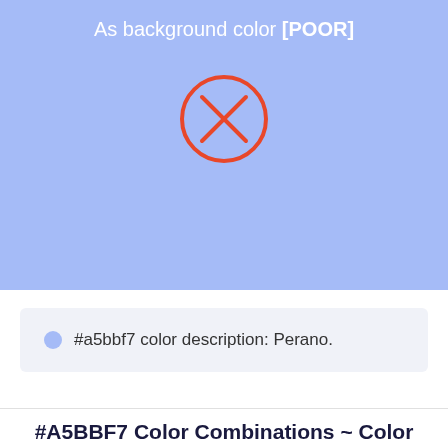[Figure (illustration): Blue background box with text 'As background color [POOR]' and a red circle with an X icon inside]
#a5bbf7 color description: Perano.
#A5BBF7 Color Combinations ~ Color Schemes with a5bbf7
In color theory, a color scheme is the choice of colors used in design. They are colors that are next to each other on the color wheel. Analogous colors tend to look pleasant together, because